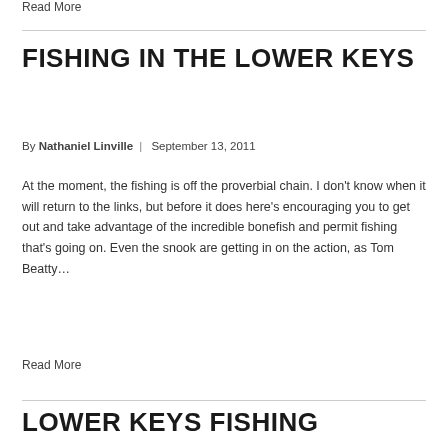Read More
FISHING IN THE LOWER KEYS
By Nathaniel Linville | September 13, 2011
At the moment, the fishing is off the proverbial chain. I don't know when it will return to the links, but before it does here's encouraging you to get out and take advantage of the incredible bonefish and permit fishing that's going on. Even the snook are getting in on the action, as Tom Beatty...
Read More
LOWER KEYS FISHING